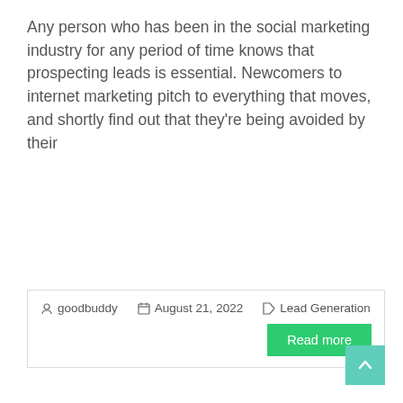Any person who has been in the social marketing industry for any period of time knows that prospecting leads is essential. Newcomers to internet marketing pitch to everything that moves, and shortly find out that they're being avoided by their
| goodbuddy | August 21, 2022 | Lead Generation | Read more |
« Previous
[Figure (illustration): Affiliate Disclosure graphic: a red banner arch with gold trim over a green arch reading 'AFFILIATE DISCLOSURE' in white bold text. Below reads 'As an Affiliate marketer for recommending products on']
As an Affiliate marketer for recommending products on